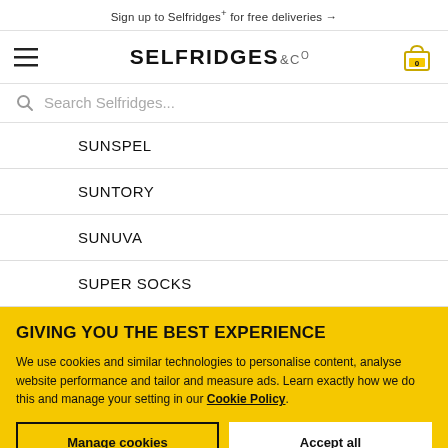Sign up to Selfridges+ for free deliveries →
[Figure (logo): Selfridges & Co logo with hamburger menu and cart icon showing 0 items]
Search Selfridges...
SUNSPEL
SUNTORY
SUNUVA
SUPER SOCKS
GIVING YOU THE BEST EXPERIENCE
We use cookies and similar technologies to personalise content, analyse website performance and tailor and measure ads. Learn exactly how we do this and manage your setting in our Cookie Policy.
Manage cookies
Accept all